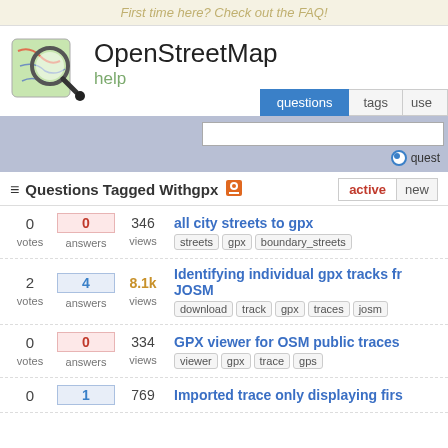First time here? Check out the FAQ!
[Figure (logo): OpenStreetMap help site logo with magnifying glass over a map]
OpenStreetMap help
Questions Tagged With gpx
active | new
all city streets to gpx — 0 votes, 0 answers, 346 views — tags: streets, gpx, boundary_streets
Identifying individual gpx tracks from JOSM — 2 votes, 4 answers, 8.1k views — tags: download, track, gpx, traces, josm
GPX viewer for OSM public traces — 0 votes, 0 answers, 334 views — tags: viewer, gpx, trace, gps
Imported trace only displaying firs... — 0 votes, 1 answer, 769 views